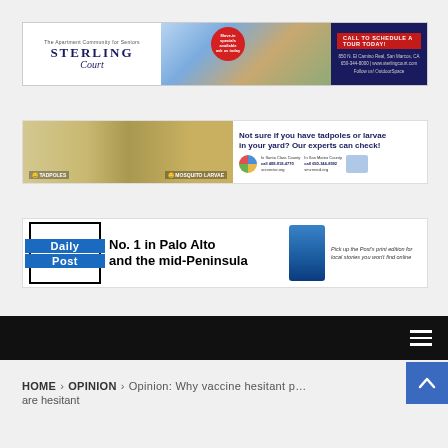[Figure (illustration): Sterling Court senior apartment community advertisement with logo, building photo, and call to action]
[Figure (illustration): Mosquito and vector control advertisement about tadpoles vs mosquito larvae in yard, with Santa Clara and San Mateo county contact info]
[Figure (illustration): Daily Post newspaper advertisement: No. 1 in Palo Alto and the mid-Peninsula, with newspaper kiosk image]
Navigation bar with hamburger menu
HOME > OPINION > Opinion: Why vaccine hesitant people are hesitant